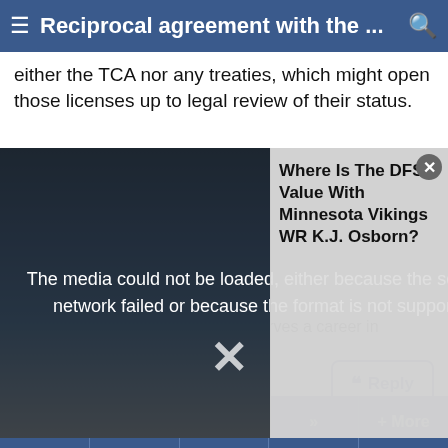Reciprocal agreement with the ...
either the TCA nor any treaties, which might open those licenses up to legal review of their status.
[Figure (screenshot): Football player catching ball with media error overlay and DFS article card overlay showing 'Where Is The DFS Value With Minnesota Vikings WR K.J. Osborn?' title and close button]
this political [CENSORED] storm deserves a career in politics, not aviation.
Reply | << | 2/3 | >> | + More